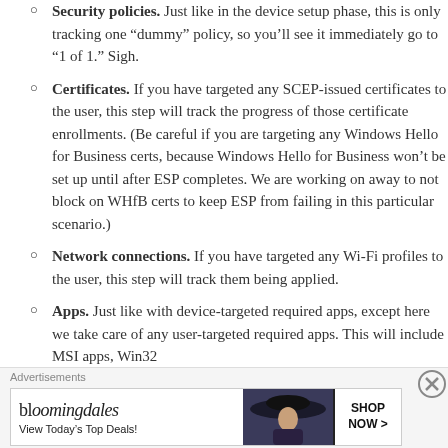Security policies.  Just like in the device setup phase, this is only tracking one “dummy” policy, so you’ll see it immediately go to “1 of 1.”  Sigh.
Certificates.  If you have targeted any SCEP-issued certificates to the user, this step will track the progress of those certificate enrollments.  (Be careful if you are targeting any Windows Hello for Business certs, because Windows Hello for Business won’t be set up until after ESP completes.  We are working on away to not block on WHfB certs to keep ESP from failing in this particular scenario.)
Network connections.  If you have targeted any Wi-Fi profiles to the user, this step will track them being applied.
Apps.  Just like with device-targeted required apps, except here we take care of any user-targeted required apps.  This will include MSI apps, Win32
[Figure (infographic): Bloomingdale's advertisement banner. Text: 'bloomingdales' logo, 'View Today’s Top Deals!' with an image of a woman in a wide-brim hat and a 'SHOP NOW >' button.]